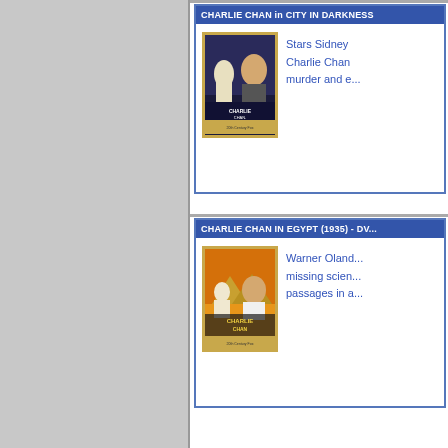CHARLIE CHAN in CITY IN DARKNESS
[Figure (photo): DVD cover for Charlie Chan in City in Darkness featuring illustrated characters]
Stars Sidney ... Charlie Chan ... murder and e...
CHARLIE CHAN IN EGYPT (1935) - DV...
[Figure (photo): DVD cover for Charlie Chan in Egypt (1935) featuring illustrated characters and pyramids]
Warner Oland... missing scien... passages in a...